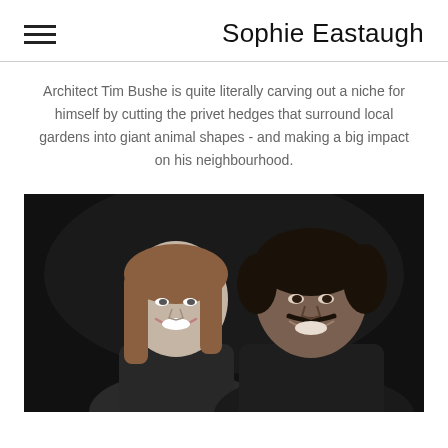Sophie Eastaugh
Architect Tim Bushe is quite literally carving out a niche for himself by cutting the privet hedges that surround local gardens into giant animal shapes - and making a big impact on his neighbourhood.
[Figure (photo): Black and white photograph of two people smiling, a woman with straight reddish hair on the left and a man with dark curly hair and a moustache on the right, against a dark background.]